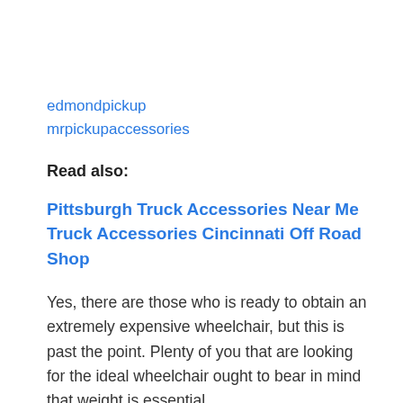edmondpickup
mrpickupaccessories
Read also:
Pittsburgh Truck Accessories Near Me
Truck Accessories Cincinnati Off Road Shop
Yes, there are those who is ready to obtain an extremely expensive wheelchair, but this is past the point. Plenty of you that are looking for the ideal wheelchair ought to bear in mind that weight is essential.